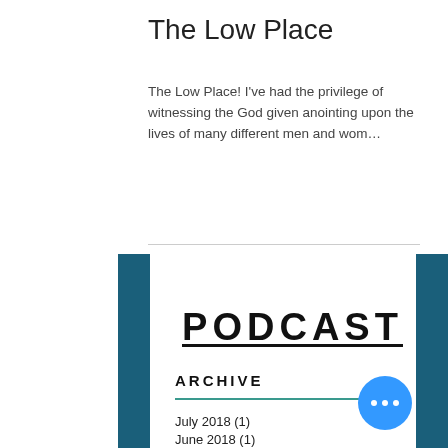The Low Place
The Low Place! I've had the privilege of witnessing the God given anointing upon the lives of many different men and wom…
PODCAST
ARCHIVE
July 2018 (1)
June 2018 (1)
May 2018 (1)
April 2018 (2)
March 2018 (1)